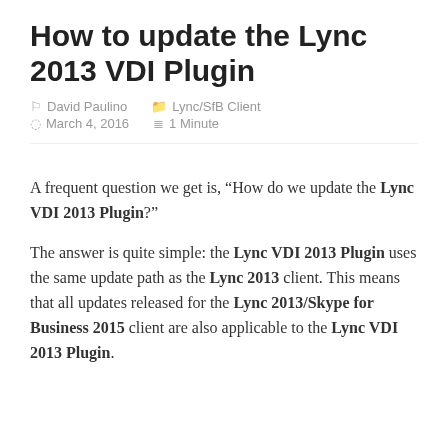How to update the Lync 2013 VDI Plugin
David Paulino   Lync/SfB Client   March 4, 2016   1 Minute
A frequent question we get is, “How do we update the Lync VDI 2013 Plugin?”
The answer is quite simple: the Lync VDI 2013 Plugin uses the same update path as the Lync 2013 client. This means that all updates released for the Lync 2013/Skype for Business 2015 client are also applicable to the Lync VDI 2013 Plugin.